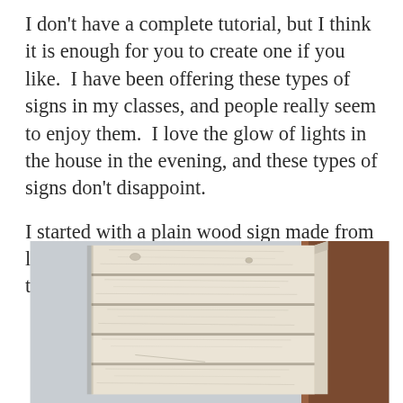I don't have a complete tutorial, but I think it is enough for you to create one if you like.  I have been offering these types of signs in my classes, and people really seem to enjoy them.  I love the glow of lights in the house in the evening, and these types of signs don't disappoint.
I started with a plain wood sign made from lath and 1×2.  My husband puts these together for me.
[Figure (photo): A plain wood sign made from whitewashed lath boards, viewed from a slightly angled perspective. The sign shows horizontal boards with visible wood grain and a wooden frame on the right side. Background shows a light gray wall and a dark brown door frame.]